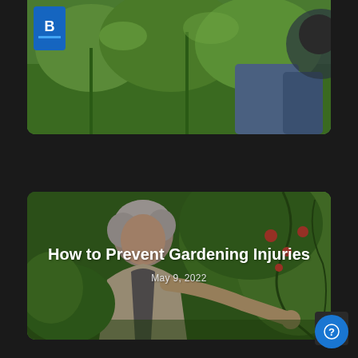[Figure (photo): Partially visible card with gardening photo at top of page, showing plants and a person gardening in background. Blue logo partially visible in top-left corner.]
[Figure (photo): Featured blog card showing an older woman with gray hair smiling while gardening among tomato plants. Text overlay reads 'How to Prevent Gardening Injuries' with date 'May 9, 2022'.]
How to Prevent Gardening Injuries
May 9, 2022